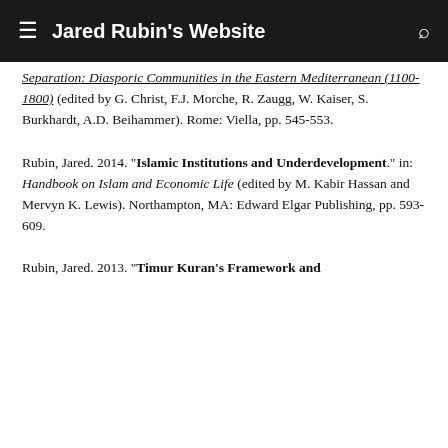Jared Rubin's Website
Separation: Diasporic Communities in the Eastern Mediterranean (1100-1800) (edited by G. Christ, F.J. Morche, R. Zaugg, W. Kaiser, S. Burkhardt, A.D. Beihammer). Rome: Viella, pp. 545-553.
Rubin, Jared. 2014. "Islamic Institutions and Underdevelopment." in: Handbook on Islam and Economic Life (edited by M. Kabir Hassan and Mervyn K. Lewis). Northampton, MA: Edward Elgar Publishing, pp. 593-609.
Rubin, Jared. 2013. "Timur Kuran's Framework and